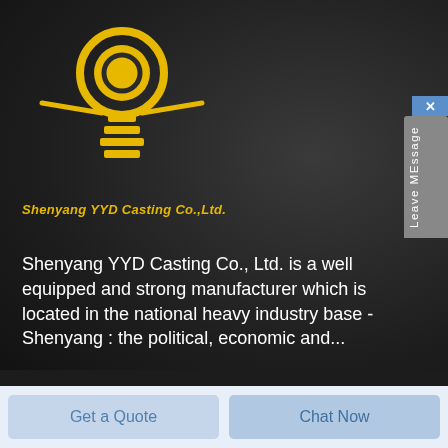[Figure (logo): Shenyang YYD Casting Co.,Ltd. logo - yellow stylized figure/light bulb shape with horizontal bars at bottom]
Shenyang YYD Casting Co.,Ltd.
Shenyang YYD Casting Co., Ltd. is a well equipped and strong manufacturer which is located in the national heavy industry base - Shenyang : the political, economic and...
View More
Related Posts
Get a Quote
Chat Now